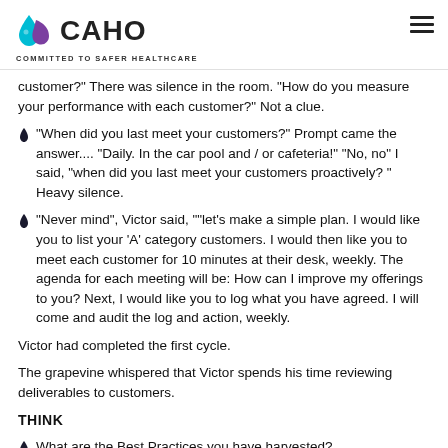CAHO — COMMITTED TO SAFER HEALTHCARE
customer?" There was silence in the room. "How do you measure your performance with each customer?" Not a clue.
"When did you last meet your customers?" Prompt came the answer.... "Daily. In the car pool and / or cafeteria!" "No, no" I said, "when did you last meet your customers proactively? " Heavy silence.
"Never mind", Victor said, ""let's make a simple plan. I would like you to list your 'A' category customers. I would then like you to meet each customer for 10 minutes at their desk, weekly. The agenda for each meeting will be: How can I improve my offerings to you? Next, I would like you to log what you have agreed. I will come and audit the log and action, weekly.
Victor had completed the first cycle.
The grapevine whispered that Victor spends his time reviewing deliverables to customers.
THINK
What are the Best Practices you have harvested?
What should Victor do next?